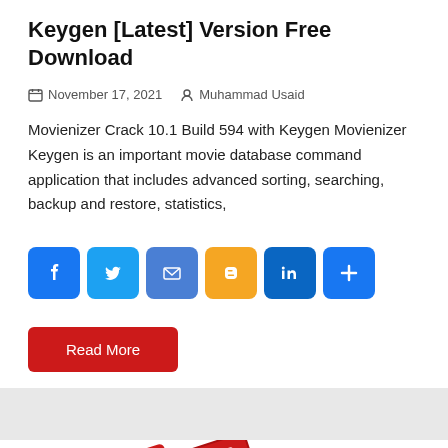Keygen [Latest] Version Free Download
November 17, 2021   Muhammad Usaid
Movienizer Crack 10.1 Build 594 with Keygen Movienizer Keygen is an important movie database command application that includes advanced sorting, searching, backup and restore, statistics,
[Figure (infographic): Social share buttons row: Facebook (blue), Twitter (light blue), Email (blue), Blogger (orange), LinkedIn (dark blue), Share more (blue)]
[Figure (illustration): Red stylized stacked folders/files logo icon, partially visible at bottom of page. Red scroll-to-top button with upward arrow in bottom right corner.]